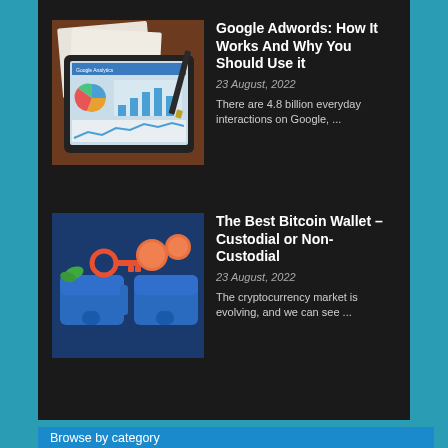[Figure (photo): Tablet showing a Google Analytics dashboard with charts, placed on a wooden desk with printed papers and a pen]
Google Adwords: How It Works And Why You Should Use it
23 August, 2022
There are 4.8 billion everyday interactions on Google, ...
[Figure (illustration): Illustration of two blue wallets with a red key and orange coins, representing Bitcoin custodial and non-custodial wallets]
The Best Bitcoin Wallet – Custodial or Non-Custodial
23 August, 2022
The cryptocurrency market is evolving, and we can see ...
Browse by category